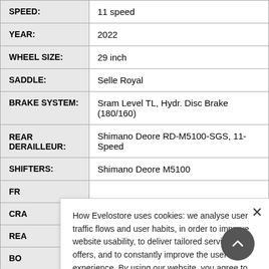| Attribute | Value |
| --- | --- |
| SPEED: | 11 speed |
| YEAR: | 2022 |
| WHEEL SIZE: | 29 inch |
| SADDLE: | Selle Royal |
| BRAKE SYSTEM: | Sram Level TL, Hydr. Disc Brake (180/160) |
| REAR DERAILLEUR: | Shimano Deore RD-M5100-SGS, 11-Speed |
| SHIFTERS: | Shimano Deore M5100 |
| FR |  |
| CRA |  |
| REA |  |
| BO |  |
How Evelostore uses cookies: we analyse user traffic flows and user habits, in order to improve website usability, to deliver tailored services and offers, and to constantly improve the user experience. By using our website, you agree to the cookie policy.